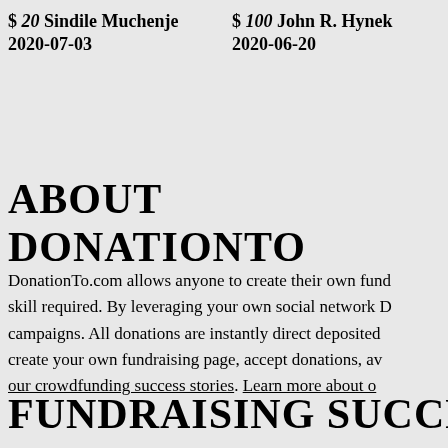$ 20 Sindile Muchenje 2020-07-03
$ 100 John R. Hynek 2020-06-20
ABOUT DONATIONTO
DonationTo.com allows anyone to create their own fundraising campaigns — no skill required. By leveraging your own social network DonationTo powers campaigns. All donations are instantly direct deposited ... create your own fundraising page, accept donations, av... our crowdfunding success stories. Learn more about o...
FUNDRAISING SUCCESS STOR